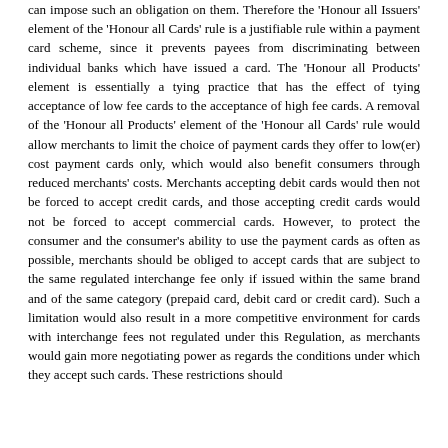can impose such an obligation on them. Therefore the 'Honour all Issuers' element of the 'Honour all Cards' rule is a justifiable rule within a payment card scheme, since it prevents payees from discriminating between individual banks which have issued a card. The 'Honour all Products' element is essentially a tying practice that has the effect of tying acceptance of low fee cards to the acceptance of high fee cards. A removal of the 'Honour all Products' element of the 'Honour all Cards' rule would allow merchants to limit the choice of payment cards they offer to low(er) cost payment cards only, which would also benefit consumers through reduced merchants' costs. Merchants accepting debit cards would then not be forced to accept credit cards, and those accepting credit cards would not be forced to accept commercial cards. However, to protect the consumer and the consumer's ability to use the payment cards as often as possible, merchants should be obliged to accept cards that are subject to the same regulated interchange fee only if issued within the same brand and of the same category (prepaid card, debit card or credit card). Such a limitation would also result in a more competitive environment for cards with interchange fees not regulated under this Regulation, as merchants would gain more negotiating power as regards the conditions under which they accept such cards. These restrictions should